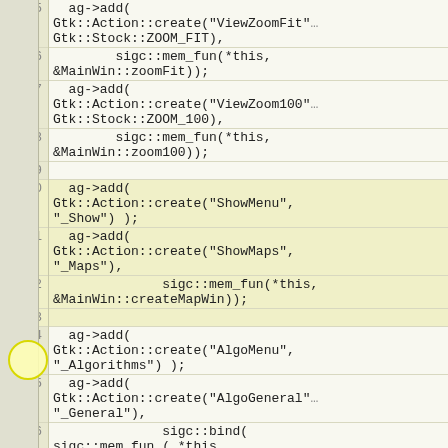[Figure (screenshot): Source code editor screenshot showing C++ code lines 95-108. Lines have numbered gutter on left with light yellow-green background. Code shows GTK action creation calls including ViewZoomFit, ViewZoom100, ShowMenu, ShowMaps, AlgoMenu, AlgoGeneral, AlgoKruskal with sigc::mem_fun and sigc::bind callbacks. Lines 100-103 are highlighted in yellow. A yellow circle annotation appears around line 101-103 area.]